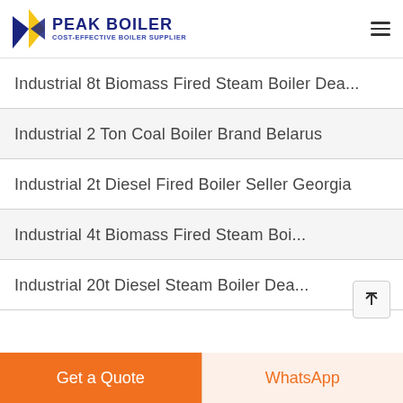PEAK BOILER - COST-EFFECTIVE BOILER SUPPLIER
Industrial 8t Biomass Fired Steam Boiler Dea...
Industrial 2 Ton Coal Boiler Brand Belarus
Industrial 2t Diesel Fired Boiler Seller Georgia
Industrial 4t Biomass Fired Steam Boi...
Industrial 20t Diesel Steam Boiler Dea...
Get a Quote | WhatsApp